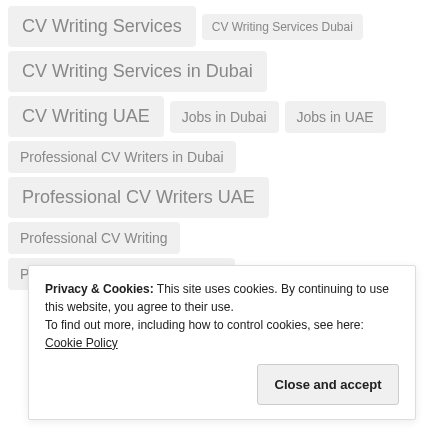CV Writing Services
CV Writing Services Dubai
CV Writing Services in Dubai
CV Writing UAE
Jobs in Dubai
Jobs in UAE
Professional CV Writers in Dubai
Professional CV Writers UAE
Professional CV Writing
Professional CV Writing in Dubai
Privacy & Cookies: This site uses cookies. By continuing to use this website, you agree to their use. To find out more, including how to control cookies, see here: Cookie Policy